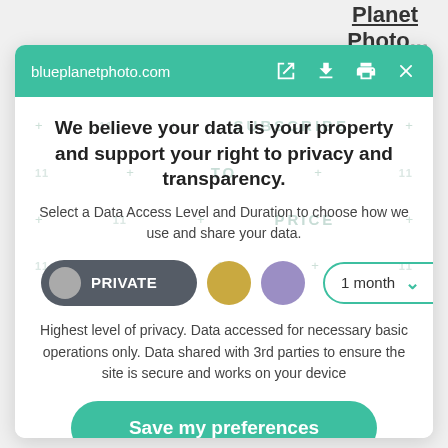Planet Photo
blueplanetphoto.com
We believe your data is your property and support your right to privacy and transparency.
Select a Data Access Level and Duration to choose how we use and share your data.
[Figure (infographic): Privacy control row: PRIVATE button (dark pill with grey circle), gold circle, lavender circle, and 1 month dropdown selector]
Highest level of privacy. Data accessed for necessary basic operations only. Data shared with 3rd parties to ensure the site is secure and works on your device
Save my preferences
Customize
Privacy policy